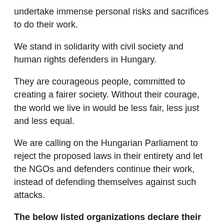undertake immense personal risks and sacrifices to do their work.
We stand in solidarity with civil society and human rights defenders in Hungary.
They are courageous people, committed to creating a fairer society. Without their courage, the world we live in would be less fair, less just and less equal.
We are calling on the Hungarian Parliament to reject the proposed laws in their entirety and let the NGOs and defenders continue their work, instead of defending themselves against such attacks.
The below listed organizations declare their support and solidarity with non-governmental organizations